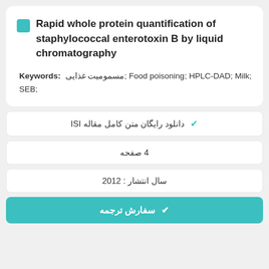Rapid whole protein quantification of staphylococcal enterotoxin B by liquid chromatography
Keywords: مسمومیت غذایی; Food poisoning; HPLC-DAD; Milk; SEB;
✔ دانلود رایگان متن کامل مقاله ISI
4 صفحه
سال انتشار : 2012
✔ سفارش ترجمه